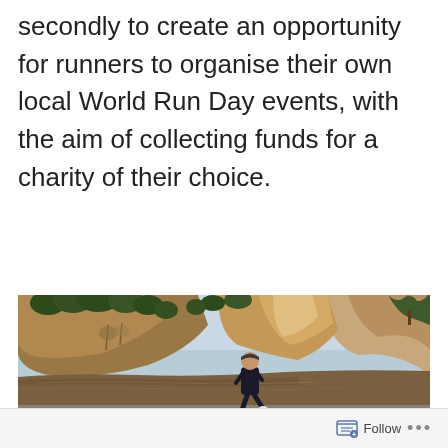secondly to create an opportunity for runners to organise their own local World Run Day events, with the aim of collecting funds for a charity of their choice.
[Figure (photo): A person running along a gravel riverbank with a muddy brown river on the left and steep golden/brown cliffs with trees in the background. The runner is wearing dark clothing and white shoes.]
Follow ...